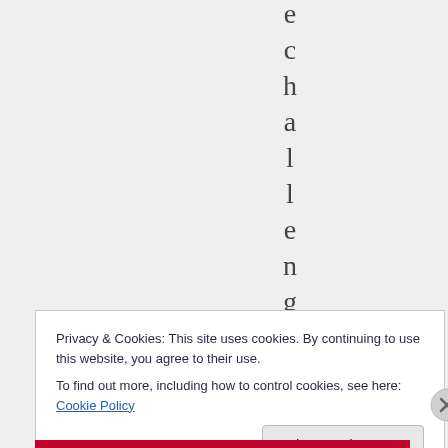[Figure (other): Vertical rotated text spelling 'echallengeo' with each letter stacked vertically on a grey background]
Privacy & Cookies: This site uses cookies. By continuing to use this website, you agree to their use.
To find out more, including how to control cookies, see here: Cookie Policy
Close and accept